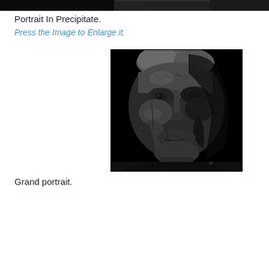[Figure (photo): Top strip of a black and white photographic image, cropped]
Portrait In Precipitate.
Press the Image to Enlarge it.
[Figure (photo): Black and white close-up portrait photograph of an elderly man with deeply lined face, lit dramatically from one side against a dark background. A small signature or watermark appears in the lower right.]
Grand portrait.